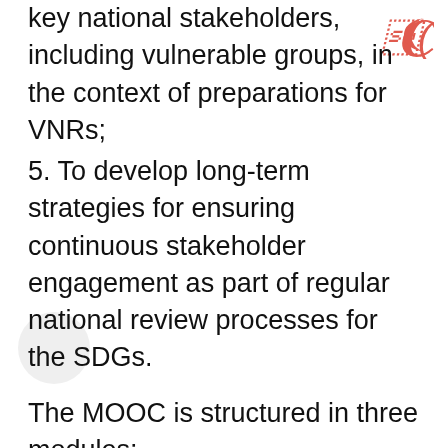key national stakeholders, including vulnerable groups, in the context of preparations for VNRs;
5. To develop long-term strategies for ensuring continuous stakeholder engagement as part of regular national review processes for the SDGs.
The MOOC is structured in three modules:
Module 1. Understanding the need for stakeholder engagement in the 2030 Agenda at the national level
Module 2. Learning about approaches and tools for strengthening stakeholder engagement for the SDGs
Module 3. Designing successful strategies for